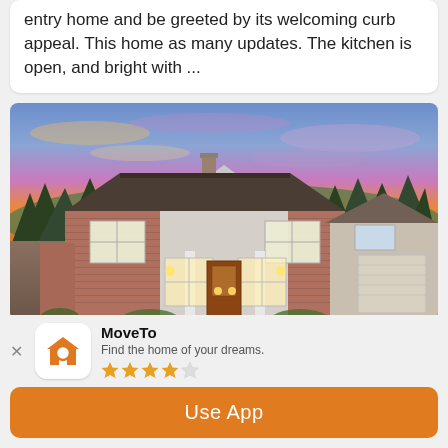entry home and be greeted by its welcoming curb appeal. This home as many updates. The kitchen is open, and bright with ...
[Figure (photo): Exterior photo of a two-story brick house with white columns and a large triangular gable, illuminated windows, at dusk with colorful purple-pink-orange sky and forested hillside behind]
MoveTo — Find the home of your dreams. ★★★★☆ — Use App